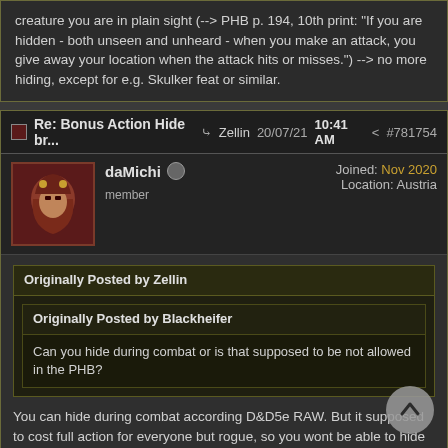creature you are in plain sight (--> PHB p. 194, 10th print: "If you are hidden - both unseen and unheard - when you make an attack, you give away your location when the attack hits or misses.") --> no more hiding, except for e.g. Skulker feat or similar.
Re: Bonus Action Hide br... → Zellin 20/07/21 10:41 AM < #781754
daMichi
member
Joined: Nov 2020
Location: Austria
Originally Posted by Zellin
Originally Posted by Blackheifer
Can you hide during combat or is that supposed to be not allowed in the PHB?
You can hide during combat according D&D5e RAW. But it supposed to cost full action for everyone but rogue, so you wont be able to hide and attack on the same turn in most cases. And unless DM decided to put you against some really stupid and half-blind enemies, you would need to hide in more active way as in "While they blink, I duck under the table and stealthily get out on the left side of it", not just hide in a plain sight.